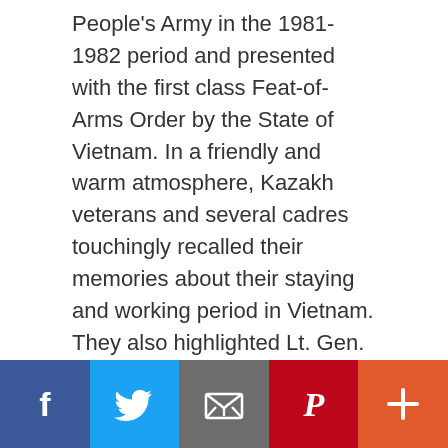People's Army in the 1981-1982 period and presented with the first class Feat-of-Arms Order by the State of Vietnam. In a friendly and warm atmosphere, Kazakh veterans and several cadres touchingly recalled their memories about their staying and working period in Vietnam. They also highlighted Lt. Gen. Kerreev's life, career, experience, and lessons on military-building, troops-caring, contributing to promoting friendship between the two peoples and militaries. They affirmed that the sharing and standing side-by-side ties between the two countries' veterans in the …
[Read more…]
[Figure (infographic): Social sharing bar with five buttons: Facebook (dark blue, f icon), Twitter (light blue, bird icon), Email (grey, envelope icon), Pinterest (red, P icon), More (orange-red, plus icon)]